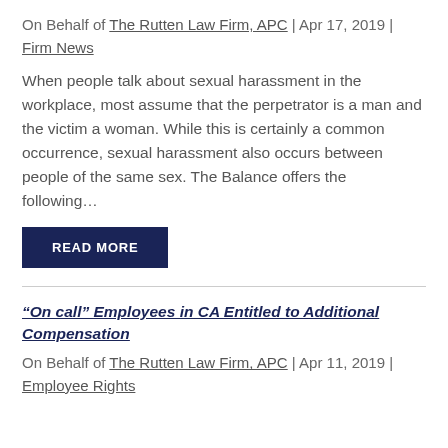On Behalf of The Rutten Law Firm, APC | Apr 17, 2019 | Firm News
When people talk about sexual harassment in the workplace, most assume that the perpetrator is a man and the victim a woman. While this is certainly a common occurrence, sexual harassment also occurs between people of the same sex. The Balance offers the following…
READ MORE
“On call” Employees in CA Entitled to Additional Compensation
On Behalf of The Rutten Law Firm, APC | Apr 11, 2019 | Employee Rights